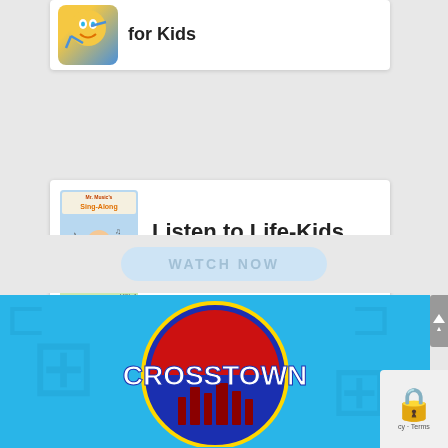[Figure (screenshot): Card with yellow/blue emoji icon and bold text 'for Kids']
[Figure (screenshot): Card with Mr. Music Sing-Along book cover illustration and text 'Listen to Life-Kids Music']
Listen to Life-Kids Music
[Figure (screenshot): Light blue 'WATCH NOW' button]
[Figure (logo): Crosstown logo: blue circle with red arc and white 'CROSSTOWN' text on light blue puzzle-piece background]
[Figure (screenshot): reCAPTCHA widget partial view at bottom right]